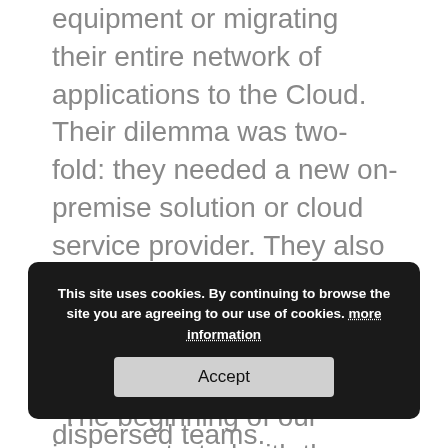equipment or migrating their entire network of applications to the Cloud. Their dilemma was two-fold: they needed a new on-premise solution or cloud service provider. They also needed to find a way to manage and support all their software applications among geographically dispersed teams. Applications now hosted on the Cloud at Priestly include the entire B2W Software ONE Platform.
Weighing Different Project Management Options at the Cloud
This site uses cookies. By continuing to browse the site you are agreeing to our use of cookies. more information
“The beginning of our journey started with the decision to change